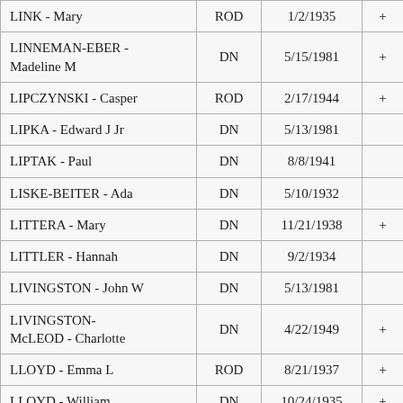| Name | Type | Date |  |
| --- | --- | --- | --- |
| LINK - Mary | ROD | 1/2/1935 | + |
| LINNEMAN-EBER - Madeline M | DN | 5/15/1981 | + |
| LIPCZYNSKI - Casper | ROD | 2/17/1944 | + |
| LIPKA - Edward J Jr | DN | 5/13/1981 |  |
| LIPTAK - Paul | DN | 8/8/1941 |  |
| LISKE-BEITER - Ada | DN | 5/10/1932 |  |
| LITTERA - Mary | DN | 11/21/1938 | + |
| LITTLER - Hannah | DN | 9/2/1934 |  |
| LIVINGSTON - John W | DN | 5/13/1981 |  |
| LIVINGSTON-McLEOD - Charlotte | DN | 4/22/1949 | + |
| LLOYD - Emma L | ROD | 8/21/1937 | + |
| LLOYD - William | DN | 10/24/1935 | + |